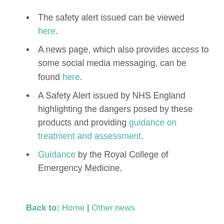The safety alert issued can be viewed here.
A news page, which also provides access to some social media messaging, can be found here.
A Safety Alert issued by NHS England highlighting the dangers posed by these products and providing guidance on treatment and assessment.
Guidance by the Royal College of Emergency Medicine.
Back to: Home | Other news